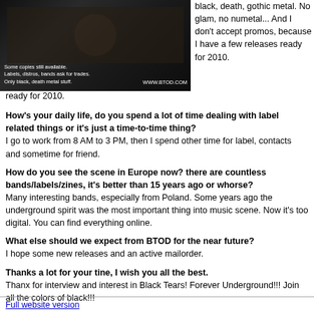[Figure (photo): Dark metal band advertisement image with text overlay: 'Some copies still available. Labels, distros, bands ask for trades. Only black, death metal stuff.' and URL WWW.BTOD.COM]
black, death, gothic metal. No glam, no numetal... And I don't accept promos, because I have a few releases ready for 2010.
How's your daily life, do you spend a lot of time dealing with label related things or it's just a time-to-time thing?
I go to work from 8 AM to 3 PM, then I spend other time for label, contacts and sometime for friend.
How do you see the scene in Europe now? there are countless bands/labels/zines, it's better than 15 years ago or whorse?
Many interesting bands, especially from Poland. Some years ago the underground spirit was the most important thing into music scene. Now it's too digital. You can find everything online.
What else should we expect from BTOD for the near future?
I hope some new releases and an active mailorder.
Thanks a lot for your tine, I wish you all the best.
Thanx for interview and interest in Black Tears! Forever Underground!!! Join all the colors of black!!!
September 2009
Full website version